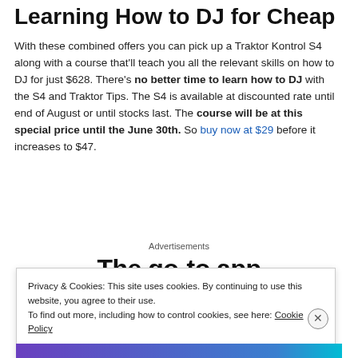Learning How to DJ for Cheap
With these combined offers you can pick up a Traktor Kontrol S4 along with a course that'll teach you all the relevant skills on how to DJ for just $628. There's no better time to learn how to DJ with the S4 and Traktor Tips. The S4 is available at discounted rate until end of August or until stocks last. The course will be at this special price until the June 30th. So buy now at $29 before it increases to $47.
Advertisements
The go-to app
Privacy & Cookies: This site uses cookies. By continuing to use this website, you agree to their use. To find out more, including how to control cookies, see here: Cookie Policy
Close and accept